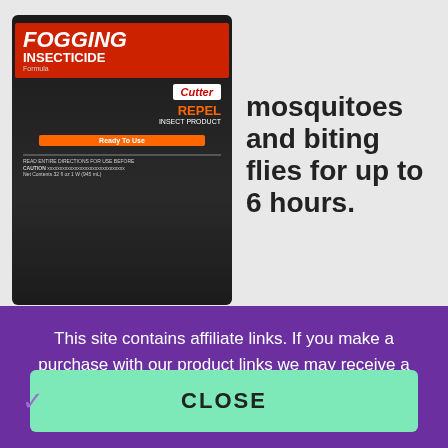[Figure (photo): Product image of Cutter Repel fogging insecticide in black tray container, showing product label with red banner, brand logos for Cutter and Repel, and orange Ready To Use bar]
mosquitoes and biting flies for up to 6 hours.
Clear area of people & dogs for 5 min.
BUY ON AMAZON
This site contains affiliate links. If you make a purchase with our product links we may receive a small commission at NO COST TO YOU. (Learn More)
CLOSE